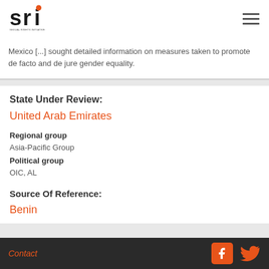SRI - Sexual Rights Initiative
Mexico [...] sought detailed information on measures taken to promote de facto and de jure gender equality.
State Under Review:
United Arab Emirates
Regional group
Asia-Pacific Group
Political group
OIC, AL
Source Of Reference:
Benin
Contact